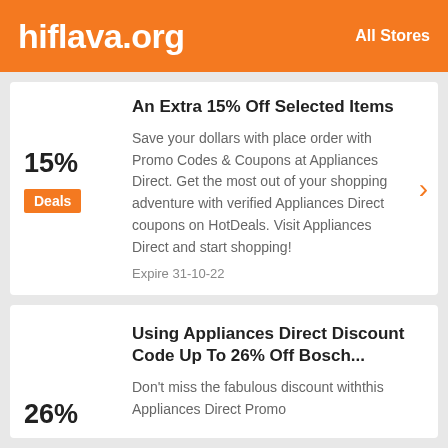hiflava.org   All Stores
An Extra 15% Off Selected Items
Save your dollars with place order with Promo Codes & Coupons at Appliances Direct. Get the most out of your shopping adventure with verified Appliances Direct coupons on HotDeals. Visit Appliances Direct and start shopping!
Expire 31-10-22
Using Appliances Direct Discount Code Up To 26% Off Bosch...
Don't miss the fabulous discount withthis Appliances Direct Promo